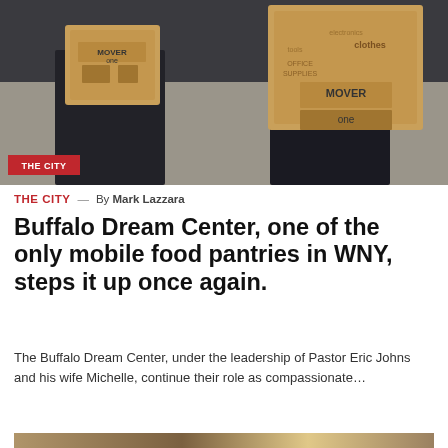[Figure (photo): Two people carrying brown cardboard moving boxes labeled 'MOVER one' standing indoors. Photo badge reading 'THE CITY' overlaid in red at bottom left.]
THE CITY — By Mark Lazzara
Buffalo Dream Center, one of the only mobile food pantries in WNY, steps it up once again.
The Buffalo Dream Center, under the leadership of Pastor Eric Johns and his wife Michelle, continue their role as compassionate…
[Figure (photo): A smiling young person looking at the camera, with warm backlighting creating a bokeh effect on the right side of the image.]